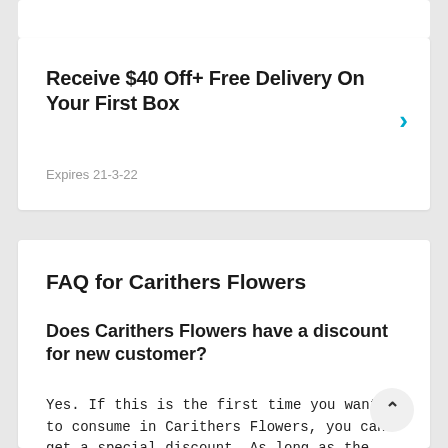Receive $40 Off+ Free Delivery On Your First Box
Expires 21-3-22
FAQ for Carithers Flowers
Does Carithers Flowers have a discount for new customer?
Yes. If this is the first time you want to consume in Carithers Flowers, you can get a special discount. As long as the carithers.com verifies that you have no shopping history in Carithers Flowers, you can use the special Carithers Flowers Coupon Code to get your discount.